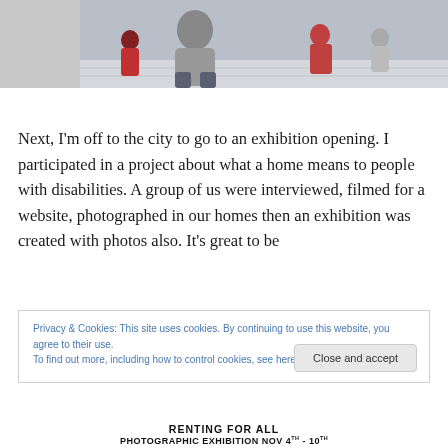[Figure (photo): A cropped photograph showing people in what appears to be a public or indoor space, partial view cut off at the top of the page.]
Next, I'm off to the city to go to an exhibition opening. I participated in a project about what a home means to people with disabilities. A group of us were interviewed, filmed for a website, photographed in our homes then an exhibition was created with photos also. It's great to be
Privacy & Cookies: This site uses cookies. By continuing to use this website, you agree to their use.
To find out more, including how to control cookies, see here: Cookie Policy
Close and accept
RENTING FOR ALL
PHOTOGRAPHIC EXHIBITION NOV 4th - 10th